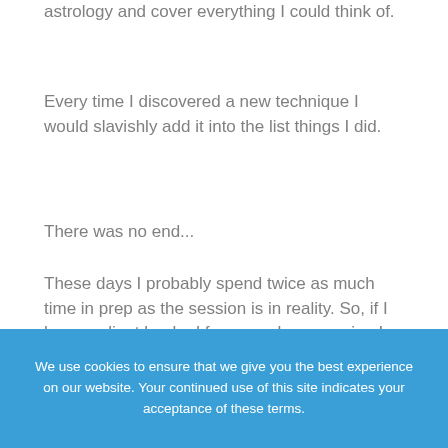astrology and cover everything I could think of.
Every time I discovered a new technique I would slavishly add it into the list things I did.
There was no end...
These days I probably spend twice as much time in prep as the session is in reality. So, if I have a client booked for a one-hour session I will likely spend two hours analyzing the chart or charts.
If it is their second or third consultation (where we are working through and exploring a few of themes in their lives) I try to keep it the same. Two hours prep for a one-hour consultation. This is my plan.
We use cookies to ensure that we give you the best experience on our website. Your continued use of this site indicates your acceptance of these terms.